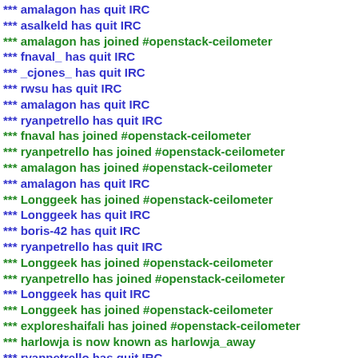*** amalagon has quit IRC
*** asalkeld has quit IRC
*** amalagon has joined #openstack-ceilometer
*** fnaval_ has quit IRC
*** _cjones_ has quit IRC
*** rwsu has quit IRC
*** amalagon has quit IRC
*** ryanpetrello has quit IRC
*** fnaval has joined #openstack-ceilometer
*** ryanpetrello has joined #openstack-ceilometer
*** amalagon has joined #openstack-ceilometer
*** amalagon has quit IRC
*** Longgeek has joined #openstack-ceilometer
*** Longgeek has quit IRC
*** boris-42 has quit IRC
*** ryanpetrello has quit IRC
*** Longgeek has joined #openstack-ceilometer
*** ryanpetrello has joined #openstack-ceilometer
*** Longgeek has quit IRC
*** Longgeek has joined #openstack-ceilometer
*** exploreshaifali has joined #openstack-ceilometer
*** harlowja is now known as harlowja_away
*** ryanpetrello has quit IRC